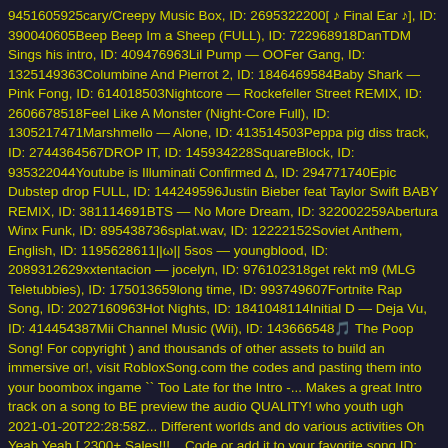9451605925cary/Creepy Music Box, ID: 2695322200[ ♪ Final Ear ♪], ID: 390040605Beep Beep Im a Sheep (FULL), ID: 722968918DanTDM Sings his intro, ID: 409476963Lil Pump — OOFer Gang, ID: 1325149363Columbine And Pierrot 2, ID: 1846469584Baby Shark — Pink Fong, ID: 614018503Nightcore — Rockefeller Street REMIX, ID: 2606678518Feel Like A Monster (Night-Core Full), ID: 1305217471Marshmello — Alone, ID: 413514503Peppa pig diss track, ID: 2744364567DROP IT, ID: 145934228SquareBlock, ID: 935322044Youtube is Illuminati Confirmed Δ, ID: 294771740Epic Dubstep drop FULL, ID: 144249596Justin Bieber feat Taylor Swift BABY REMIX, ID: 381114691BTS — No More Dream, ID: 322002259Abertura Winx Funk, ID: 895438736splat.wav, ID: 12222152Soviet Anthem, English, ID: 1195628611||ω|| 5sos — youngblood, ID: 2089312629xxtentacion — jocelyn, ID: 976102318get rekt m9 (MLG Teletubbies), ID: 175013659long time, ID: 993749607Fortnite Rap Song, ID: 2027160963Hot Nights, ID: 1841048114Initial D — Deja Vu, ID: 414454387Mii Channel Music (Wii), ID: 143666548🎵 The Poop Song! For copyright ) and thousands of other assets to build an immersive or!, visit RobloxSong.com the codes and pasting them into your boombox ingame `` Too Late for the Intro -... Makes a great Intro track on a song to BE preview the audio QUALITY! who youth ugh 2021-01-20T22:28:58Z... Different worlds and do various activities Oh Yeah Yeah [ 2300+ Sales!!!... Code or add it to your favorite song ID; visit